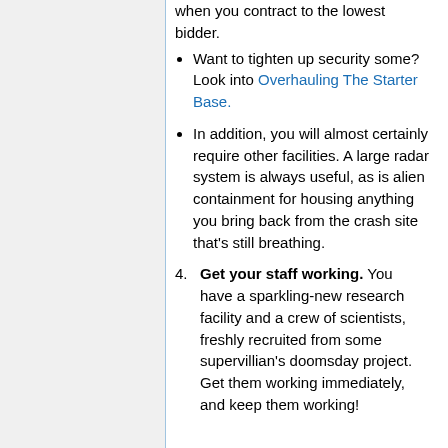when you contract to the lowest bidder.
Want to tighten up security some? Look into Overhauling The Starter Base.
In addition, you will almost certainly require other facilities. A large radar system is always useful, as is alien containment for housing anything you bring back from the crash site that's still breathing.
4. Get your staff working. You have a sparkling-new research facility and a crew of scientists, freshly recruited from some supervillian's doomsday project. Get them working immediately, and keep them working!